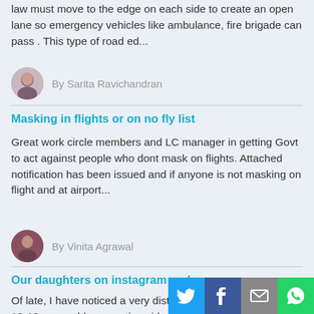law must move to the edge on each side to create an open lane so emergency vehicles like ambulance, fire brigade can pass . This type of road ed...
By Sarita Ravichandran
Masking in flights or on no fly list
Great work circle members and LC manager in getting Govt to act against people who dont mask on flights. Attached notification has been issued and if anyone is not masking on flight and at airport...
By Vinita Agrawal
Our daughters on instagram reels
Of late, I have noticed a very disturbing trend.. Girls, barely 10-12 years old are posting videos (Reels) on Instagram of them gyrating to Bollywood numbers making lewd gestures.. Thei